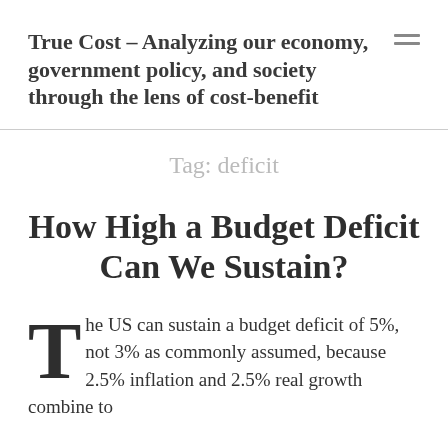True Cost – Analyzing our economy, government policy, and society through the lens of cost-benefit
Tag: deficit
How High a Budget Deficit Can We Sustain?
The US can sustain a budget deficit of 5%, not 3% as commonly assumed, because 2.5% inflation and 2.5% real growth combine to